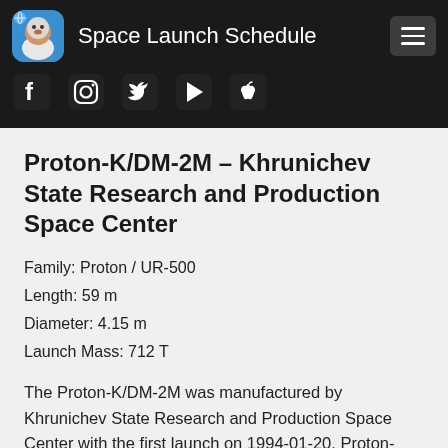Space Launch Schedule
[Figure (screenshot): App logo icon with astronaut monkey and social media icons bar (Facebook, Instagram, Twitter, Google Play, Apple)]
Proton-K/DM-2M – Khrunichev State Research and Production Space Center
Family: Proton / UR-500
Length: 59 m
Diameter: 4.15 m
Launch Mass: 712 T
The Proton-K/DM-2M was manufactured by Khrunichev State Research and Production Space Center with the first launch on 1994-01-20. Proton-K/DM-2M has 39 successful launches and 2 failed